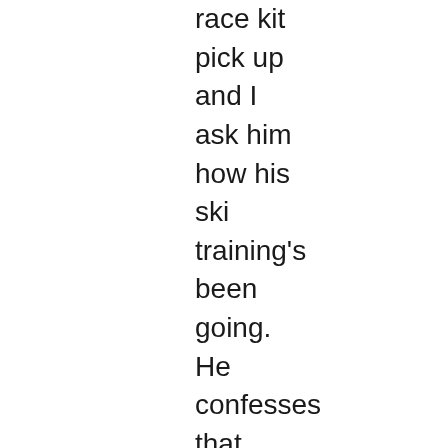race kit pick up and I ask him how his ski training's been going. He confesses that he's only managed to get out skiing about 6 times in total including our little "lesson", as coach Dev has him focused